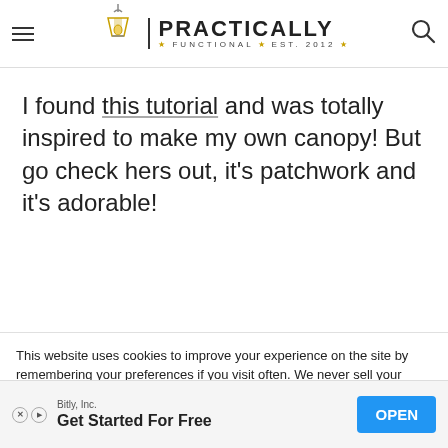Practically Functional — Est. 2012
I found this tutorial and was totally inspired to make my own canopy! But go check hers out, it's patchwork and it's adorable!
DIY Crop Canopy Tutorial
This website uses cookies to improve your experience on the site by remembering your preferences if you visit often. We never sell your information or use your email address for anything other than user login or our newsletter (if you sign up for it).
Bitly, Inc.
Get Started For Free
OPEN